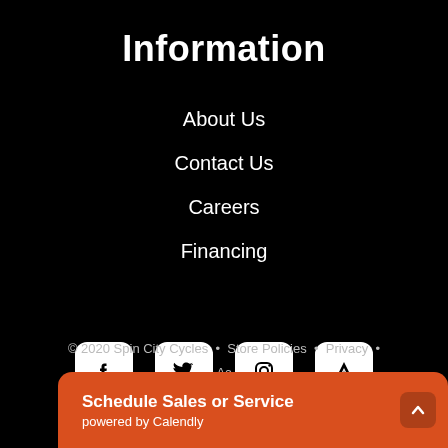Information
About Us
Contact Us
Careers
Financing
[Figure (other): Social media icons: Facebook, Twitter, Instagram, Strava (or similar app icon) — each in a white rounded square on black background]
© 2020 Spin City Cycles  •  Store Policies  •  Privacy  •  Ac...
Schedule Sales or Service  powered by Calendly